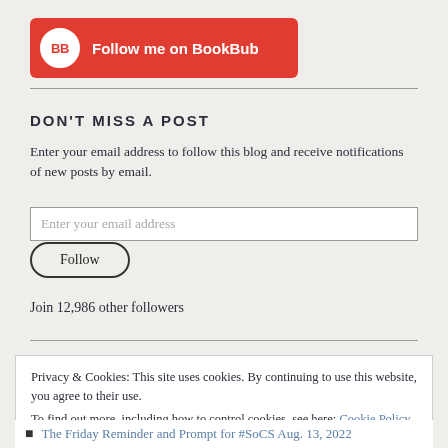[Figure (logo): BookBub follow button banner — red rounded rectangle with white BB circle logo and text 'Follow me on BookBub']
DON'T MISS A POST
Enter your email address to follow this blog and receive notifications of new posts by email.
Enter your email address
Follow
Join 12,986 other followers
Privacy & Cookies: This site uses cookies. By continuing to use this website, you agree to their use.
To find out more, including how to control cookies, see here: Cookie Policy
Close and accept
The Friday Reminder and Prompt for #SoCS Aug. 13, 2022